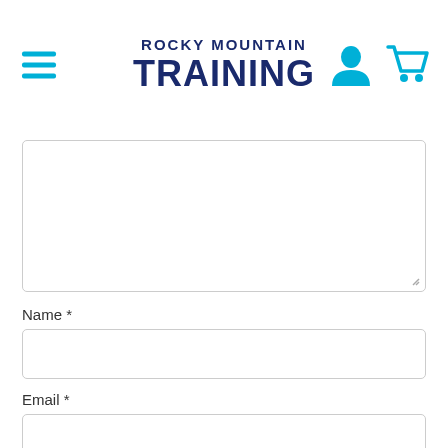[Figure (logo): Rocky Mountain Training logo with hamburger menu icon on left and user/cart icons on right]
[Figure (other): Large textarea input field (partially visible, top cut off)]
Name *
[Figure (other): Name input text field]
Email *
[Figure (other): Email input text field]